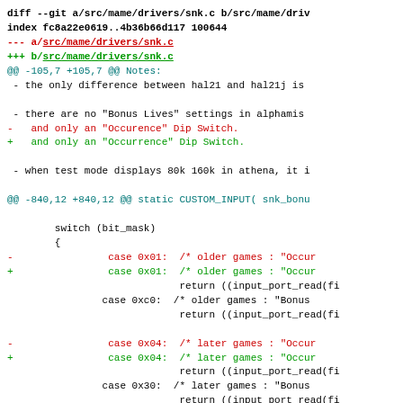diff --git a/src/mame/drivers/snk.c b/src/mame/driv
index fc8a22e0619..4b36b66d117 100644
--- a/src/mame/drivers/snk.c
+++ b/src/mame/drivers/snk.c
@@ -105,7 +105,7 @@ Notes:
 - the only difference between hal21 and hal21j is

 - there are no "Bonus Lives" settings in alphamis
-   and only an "Occurence" Dip Switch.
+   and only an "Occurrence" Dip Switch.

 - when test mode displays 80k 160k in athena, it i

@@ -840,12 +840,12 @@ static CUSTOM_INPUT( snk_bonu

        switch (bit_mask)
        {
-                case 0x01:  /* older games : "Occur
+                case 0x01:  /* older games : "Occur
                             return ((input_port_read(fi
                case 0xc0:  /* older games : "Bonus
                             return ((input_port_read(fi

-                case 0x04:  /* later games : "Occur
+                case 0x04:  /* later games : "Occur
                             return ((input_port_read(fi
                case 0x30:  /* later games : "Bonus
                             return ((input_port_read(fi
@@ -1674,7 +1674,7 @@ static INPUT_PORTS_START( van